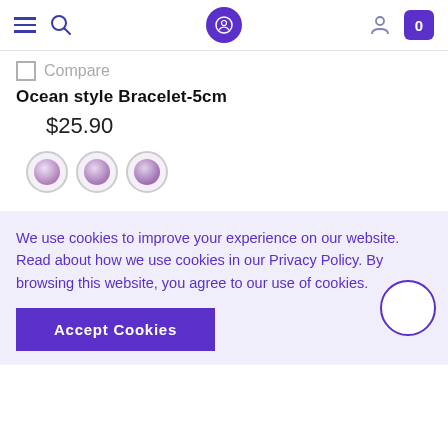Navigation bar with hamburger menu, search icon, logo, user icon, and cart (0)
Compare
Ocean style Bracelet-5cm
$25.90
[Figure (other): Three circular swatch thumbnail images showing bracelet color options]
[Figure (other): Circular scroll-to-top button with purple border on right side]
We use cookies to improve your experience on our website. Read about how we use cookies in our Privacy Policy. By browsing this website, you agree to our use of cookies.
Accept Cookies